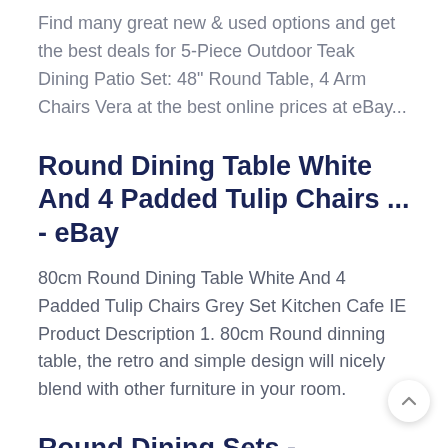Find many great new & used options and get the best deals for 5-Piece Outdoor Teak Dining Patio Set: 48" Round Table, 4 Arm Chairs Vera at the best online prices at eBay...
Round Dining Table White And 4 Padded Tulip Chairs ... - eBay
80cm Round Dining Table White And 4 Padded Tulip Chairs Grey Set Kitchen Cafe IE Product Description 1. 80cm Round dinning table, the retro and simple design will nicely blend with other furniture in your room.
Round Dining Sets -